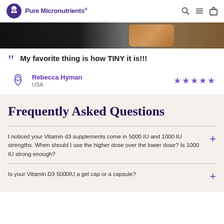Pure Micronutrients
[Figure (photo): Dark background banner image with amber/brown product bottle visible on right side]
My favorite thing is how TINY it is!!!
Rebecca Hyman
USA
★★★★★
Frequently Asked Questions
I noticed your Vitamin d3 supplements come in 5000 IU and 1000 IU strengths. When should I use the higher dose over the lower dose? Is 1000 IU strong enough?
Is your Vitamin D3 5000IU a gel cap or a capsule?